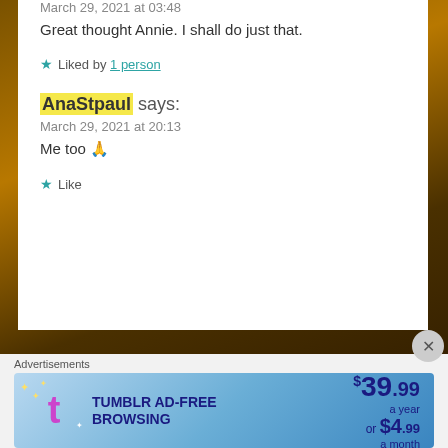March 29, 2021 at 03:48
Great thought Annie. I shall do just that.
★ Liked by 1 person
AnaStpaul says:
March 29, 2021 at 20:13
Me too 🙏
★ Like
Advertisements
[Figure (screenshot): Tumblr Ad-Free Browsing advertisement banner: $39.99 a year or $4.99 a month]